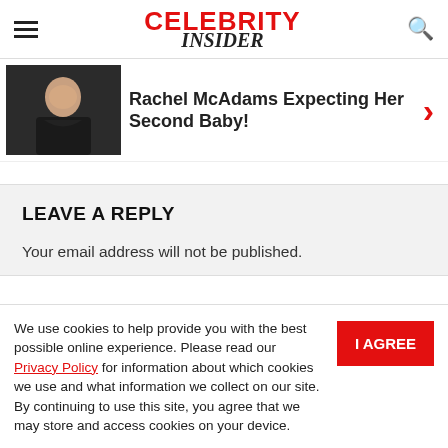Celebrity Insider
[Figure (photo): Photo of a woman (Rachel McAdams) against a dark background, wearing a dark top]
Rachel McAdams Expecting Her Second Baby!
LEAVE A REPLY
Your email address will not be published.
We use cookies to help provide you with the best possible online experience. Please read our Privacy Policy for information about which cookies we use and what information we collect on our site. By continuing to use this site, you agree that we may store and access cookies on your device.